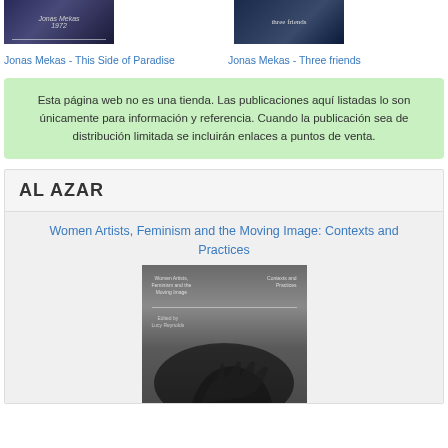[Figure (photo): Book cover for Jonas Mekas - This Side of Paradise, dark blue/purple tones]
[Figure (photo): Book cover for Jonas Mekas - Three friends, dark blue tones with text 'three friends']
Jonas Mekas - This Side of Paradise Jonas Mekas - Three friends
Esta página web no es una tienda. Las publicaciones aquí listadas lo son únicamente para información y referencia. Cuando la publicación sea de distribución limitada se incluirán enlaces a puntos de venta.
AL AZAR
Women Artists, Feminism and the Moving Image: Contexts and Practices
[Figure (photo): Book cover for Women Artists, Feminism and the Moving Image: Contexts and Practices - grey cover with hand shadow]